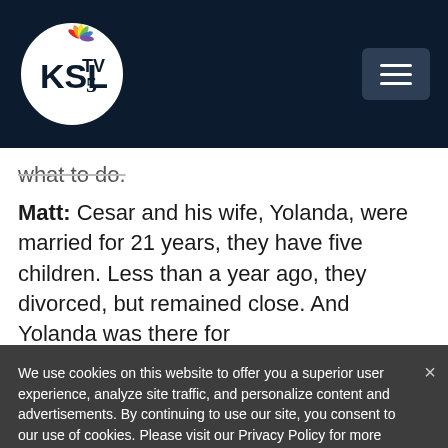KSL TV 5 (NBC) logo and navigation header
what to do.
Matt: Cesar and his wife, Yolanda, were married for 21 years, they have five children. Less than a year ago, they divorced, but remained close. And Yolanda was there for
We use cookies on this website to offer you a superior user experience, analyze site traffic, and personalize content and advertisements. By continuing to use our site, you consent to our use of cookies. Please visit our Privacy Policy for more information.
Accept Cookies